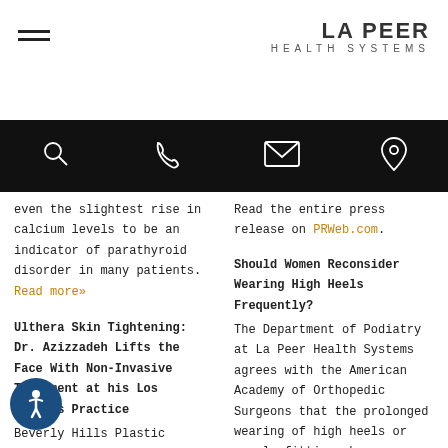LA PEER HEALTH SYSTEMS
[Figure (infographic): Navigation bar with search, phone, email, and location icons on black background]
even the slightest rise in calcium levels to be an indicator of parathyroid disorder in many patients. Read more»
Ulthera Skin Tightening: Dr. Azizzadeh Lifts the Face With Non-Invasive Treatment at his Los Angeles Practice
Beverly Hills Plastic Surgeon, Dr. Babak Azizzadeh, Now Offers Ulthera treatments at the Center for Advanced Facial Plastic Surgery. Read more»
Read the entire press release on PRWeb.com.
Should Women Reconsider Wearing High Heels Frequently?
The Department of Podiatry at La Peer Health Systems agrees with the American Academy of Orthopedic Surgeons that the prolonged wearing of high heels or poorly fitting shoes contribute to severe bunions and other foot problems. Read the entire press release on PRWeb.com.